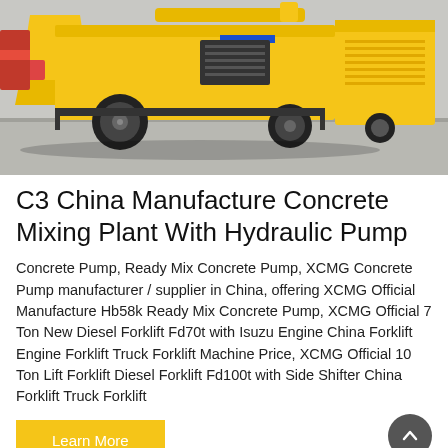[Figure (photo): Yellow concrete mixing plant with hydraulic pump on a paved surface, photographed outdoors. The machine is yellow with black wheels and various mechanical components visible.]
C3 China Manufacture Concrete Mixing Plant With Hydraulic Pump
Concrete Pump, Ready Mix Concrete Pump, XCMG Concrete Pump manufacturer / supplier in China, offering XCMG Official Manufacture Hb58k Ready Mix Concrete Pump, XCMG Official 7 Ton New Diesel Forklift Fd70t with Isuzu Engine China Forklift Engine Forklift Truck Forklift Machine Price, XCMG Official 10 Ton Lift Forklift Diesel Forklift Fd100t with Side Shifter China Forklift Truck Forklift